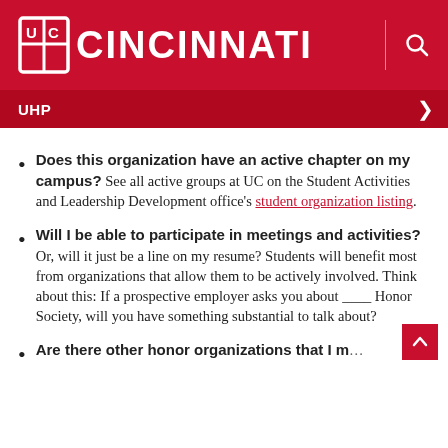UC Cincinnati | UHP
Does this organization have an active chapter on my campus? See all active groups at UC on the Student Activities and Leadership Development office's student organization listing.
Will I be able to participate in meetings and activities? Or, will it just be a line on my resume? Students will benefit most from organizations that allow them to be actively involved. Think about this: If a prospective employer asks you about ____ Honor Society, will you have something substantial to talk about?
Are there other honor organizations that I m...